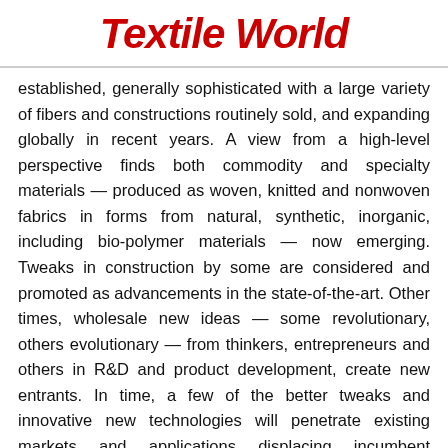Textile World
established, generally sophisticated with a large variety of fibers and constructions routinely sold, and expanding globally in recent years. A view from a high-level perspective finds both commodity and specialty materials — produced as woven, knitted and nonwoven fabrics in forms from natural, synthetic, inorganic, including bio-polymer materials — now emerging. Tweaks in construction by some are considered and promoted as advancements in the state-of-the-art. Other times, wholesale new ideas — some revolutionary, others evolutionary — from thinkers, entrepreneurs and others in R&D and product development, create new entrants. In time, a few of the better tweaks and innovative new technologies will penetrate existing markets and applications displacing incumbent materials. This article highlights several advances, and attempts to sort through the clutter and identify a few technologies positioned to become